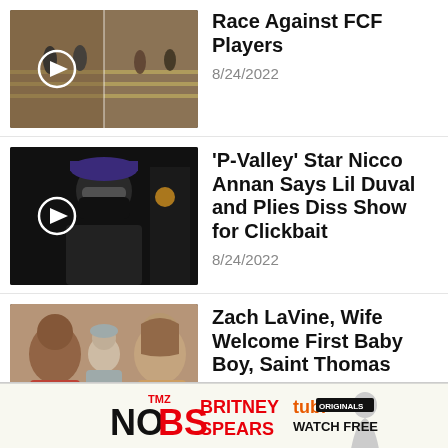[Figure (photo): Two thumbnail images of athletes on a running track with a play button overlay]
Race Against FCF Players
8/24/2022
[Figure (photo): Man wearing purple cap, sunglasses, and face mask with a play button overlay]
'P-Valley' Star Nicco Annan Says Lil Duval and Plies Diss Show for Clickbait
8/24/2022
[Figure (photo): Zach LaVine holding baby with wife and composite photo]
Zach LaVine, Wife Welcome First Baby Boy, Saint Thomas
[Figure (infographic): TMZ No BS Britney Spears advertisement banner with Tubi Originals Watch Free]